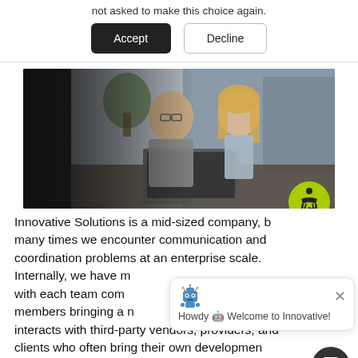not asked to make this choice again.
Accept   Decline
[Figure (photo): Two business professionals, a man with glasses and a woman with blonde hair, working together on a laptop in an office setting.]
Innovative Solutions is a mid-sized company, b... many times we encounter communication and coordination problems at an enterprise scale. Internally, we have m... with each team comp... members bringing a n... interacts with third-party vendors, providers, and clients who often bring their own developmen... teams with whom we collaborate. Quite often... clients are directly communicating with third